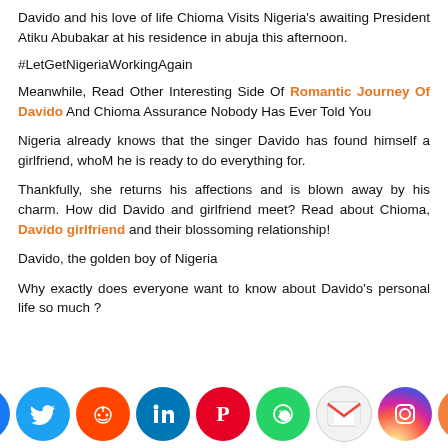Davido and his love of life Chioma Visits Nigeria's awaiting President Atiku Abubakar at his residence in abuja this afternoon.
#LetGetNigeriaWorkingAgain
Meanwhile, Read Other Interesting Side Of Romantic Journey Of Davido And Chioma Assurance Nobody Has Ever Told You
Nigeria already knows that the singer Davido has found himself a girlfriend, whoM he is ready to do everything for.
Thankfully, she returns his affections and is blown away by his charm. How did Davido and girlfriend meet? Read about Chioma, Davido girlfriend and their blossoming relationship!
Davido, the golden boy of Nigeria
Why exactly does everyone want to know about Davido's personal life so much ?
[Figure (infographic): Social media share icons row: Facebook, Twitter, Reddit, LinkedIn, Pinterest, WhatsApp, Gmail, Instagram, Share]